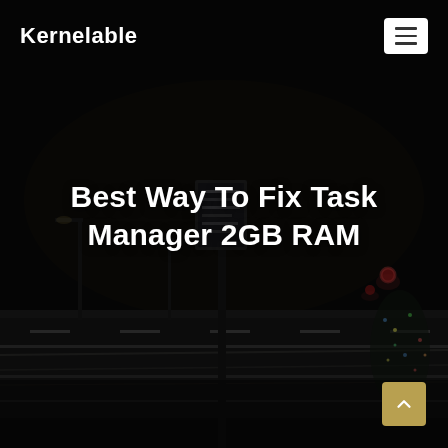[Figure (photo): Dark night street scene with traffic lights, road markings, street signs, and a blurred city intersection viewed at night. Background for the Kernelable website header.]
Kernelable
Best Way To Fix Task Manager 2GB RAM